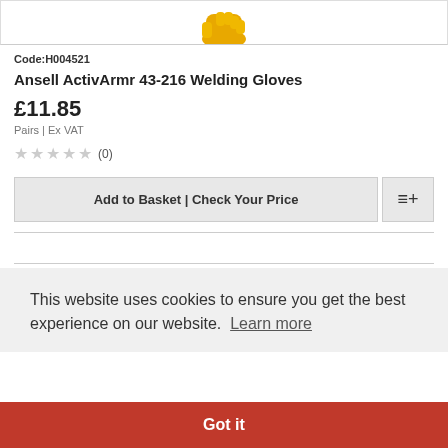[Figure (photo): Partial view of yellow welding gloves product image at top of page]
Code:H004521
Ansell ActivArmr 43-216 Welding Gloves
£11.85
Pairs | Ex VAT
★★★★★ (0)
Add to Basket | Check Your Price
This website uses cookies to ensure you get the best experience on our website. Learn more
Got it